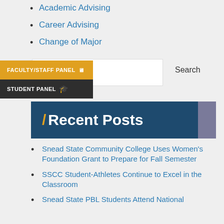Academic Advising
Career Advising
Change of Major
[Figure (screenshot): Faculty/Staff Panel button (gold background) and Student Panel button (dark background), with a search input box and 'Search' label]
/ Recent Posts
Snead State Community College Uses Women's Foundation Grant to Prepare for Fall Semester
SSCC Student-Athletes Continue to Excel in the Classroom
Snead State PBL Students Attend National